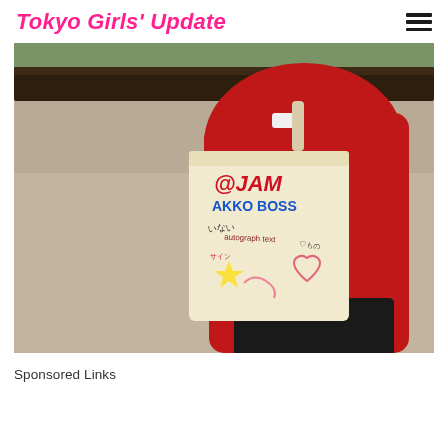Tokyo Girls' Update
[Figure (photo): Person wearing a red short-sleeve shirt carrying a canvas tote bag with colorful handwritten text and doodles including '@JAM' and other writing, standing outdoors near a concrete wall with a dark wooden ledge railing]
Sponsored Links